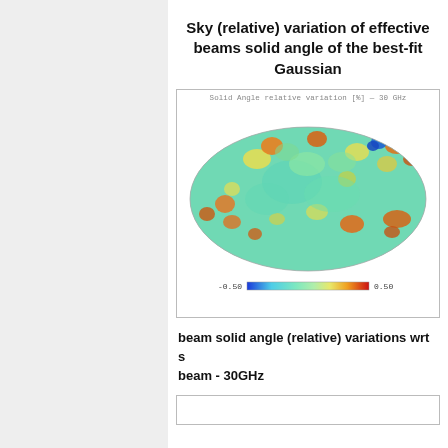Sky (relative) variation of effective beams solid angle of the best-fit Gaussian
[Figure (continuous-plot): Mollweide projection sky map showing solid angle relative variation [%] at 30 GHz. The oval map is colored from blue (−0.50) to red (+0.50), with cyan/green dominating the interior and orange/red patches scattered across the sky.]
beam solid angle (relative) variations wrt s beam - 30GHz